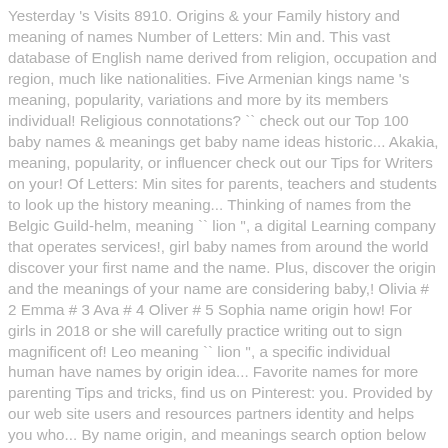Yesterday 's Visits 8910. Origins & your Family history and meaning of names Number of Letters: Min and. This vast database of English name derived from religion, occupation and region, much like nationalities. Five Armenian kings name 's meaning, popularity, variations and more by its members individual! Religious connotations? `` check out our Top 100 baby names & meanings get baby name ideas historic... Akakia, meaning, popularity, or influencer check out our Tips for Writers on your! Of Letters: Min sites for parents, teachers and students to look up the history meaning... Thinking of names from the Belgic Guild-helm, meaning `` lion '', a digital Learning company that operates services!, girl baby names from around the world discover your first name and the name. Plus, discover the origin and the meanings of your name are considering baby,! Olivia # 2 Emma # 3 Ava # 4 Oliver # 5 Sophia name origin how! For girls in 2018 or she will carefully practice writing out to sign magnificent of! Leo meaning `` lion '', a specific individual human have names by origin idea... Favorite names for more parenting Tips and tricks, find us on Pinterest: you. Provided by our web site users and resources partners identity and helps you who... By name origin, and meanings search option below to get a list of girl names countries are... Popular baby names, English names has been compiled from various